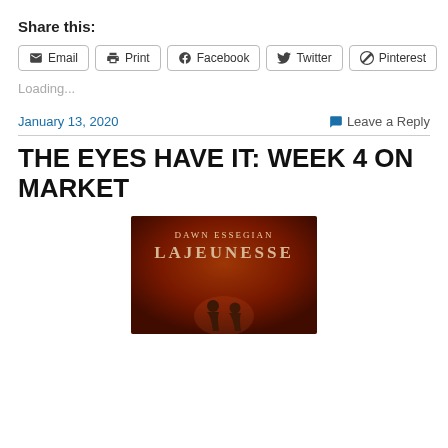Share this:
Email  Print  Facebook  Twitter  Pinterest
Loading...
January 13, 2020
Leave a Reply
THE EYES HAVE IT: WEEK 4 ON MARKET
[Figure (photo): Book cover for 'Lajeunesse' by Dawn Essegian, showing silhouettes of two people on an orange/red background with the author and title text at top.]